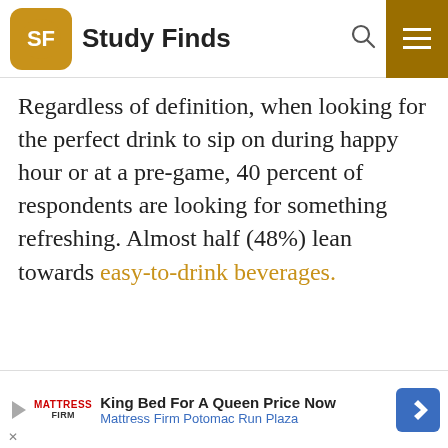Study Finds
Regardless of definition, when looking for the perfect drink to sip on during happy hour or at a pre-game, 40 percent of respondents are looking for something refreshing. Almost half (48%) lean towards easy-to-drink beverages.
King Bed For A Queen Price Now — Mattress Firm Potomac Run Plaza